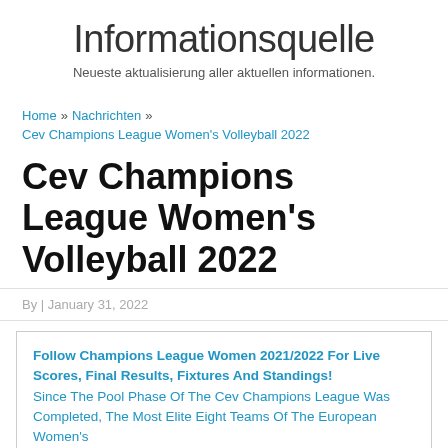Informationsquelle
Neueste aktualisierung aller aktuellen informationen.
Home » Nachrichten » Cev Champions League Women's Volleyball 2022
Cev Champions League Women's Volleyball 2022
By | January 31, 2022
Follow Champions League Women 2021/2022 For Live Scores, Final Results, Fixtures And Standings! Since The Pool Phase Of The Cev Champions League Was Completed, The Most Elite Eight Teams Of The European Women's